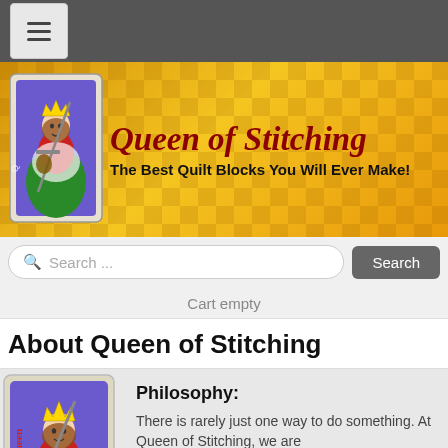[Figure (screenshot): Navigation bar with hamburger menu icon on dark gray background]
[Figure (illustration): Queen of Stitching website banner with orange/gold gradient background, queen playing card illustration on left, site title 'Queen of Stitching' in dark red italic serif font, subtitle 'The Best Quilt Blocks You Will Ever Make!' in bold black]
[Figure (screenshot): Search bar with rounded search input field and gray Search button]
Cart empty
About Queen of Stitching
[Figure (illustration): Partial queen playing card illustration showing 'ueen' text on side, queen figure with crown in purple/blue card]
Philosophy:
There is rarely just one way to do something. At Queen of Stitching, we are